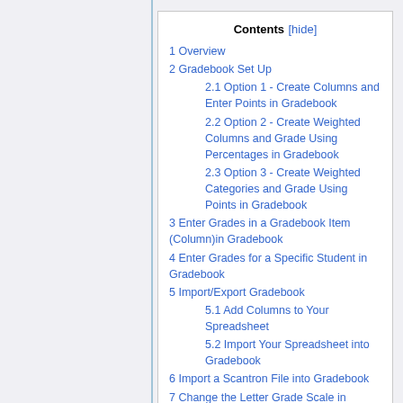Contents [hide]
1 Overview
2 Gradebook Set Up
2.1 Option 1 - Create Columns and Enter Points in Gradebook
2.2 Option 2 - Create Weighted Columns and Grade Using Percentages in Gradebook
2.3 Option 3 - Create Weighted Categories and Grade Using Points in Gradebook
3 Enter Grades in a Gradebook Item (Column)in Gradebook
4 Enter Grades for a Specific Student in Gradebook
5 Import/Export Gradebook
5.1 Add Columns to Your Spreadsheet
5.2 Import Your Spreadsheet into Gradebook
6 Import a Scantron File into Gradebook
7 Change the Letter Grade Scale in Gradebook
8 Prepare Grades in Gradebook for